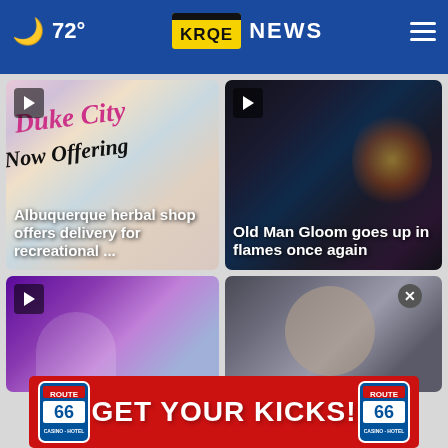🌙 72° KRQE NEWS ☰
[Figure (screenshot): Video thumbnail showing Duke City herbal shop flyer with colorful text. Overlay text reads: Albuquerque herbal shop offers delivery for recreational ...]
[Figure (screenshot): Dark video thumbnail showing a person handling fire or a flaming object. Overlay text reads: Old Man Gloom goes up in flames once again]
[Figure (screenshot): Video thumbnail with purple/violet background, play button in corner.]
[Figure (screenshot): Video thumbnail showing a person's face with close (X) button overlay.]
[Figure (other): Route 66 Casino Hotel advertisement banner in red with text GET YOUR KICKS! and Route 66 Casino Hotel logos on both sides.]